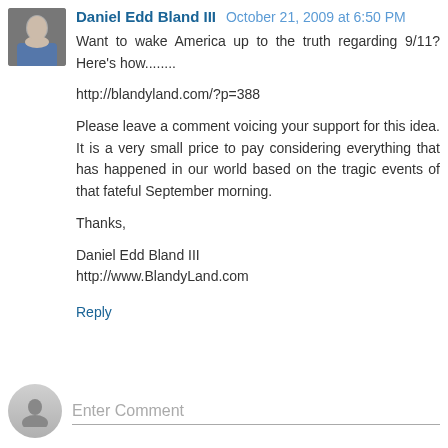[Figure (photo): Small profile photo of a man in a suit, avatar for comment author Daniel Edd Bland III]
Daniel Edd Bland III  October 21, 2009 at 6:50 PM
Want to wake America up to the truth regarding 9/11? Here's how........

http://blandyland.com/?p=388

Please leave a comment voicing your support for this idea. It is a very small price to pay considering everything that has happened in our world based on the tragic events of that fateful September morning.

Thanks,

Daniel Edd Bland III
http://www.BlandyLand.com
Reply
Enter Comment